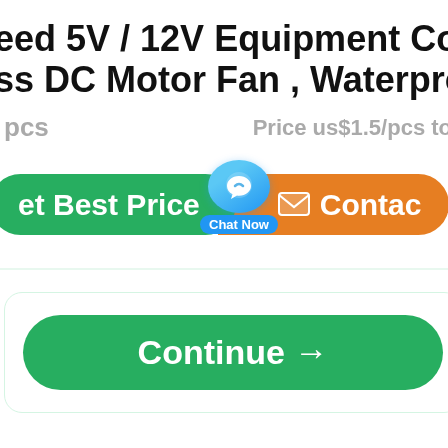eed 5V / 12V Equipment Cooling ss DC Motor Fan , Waterproof
pcs   Price us$1.5/pcs to
[Figure (screenshot): Green 'Get Best Price' button, blue chat bubble with 'Chat Now' label, orange 'Contact' button side by side]
[Figure (screenshot): White card with green 'Continue →' button]